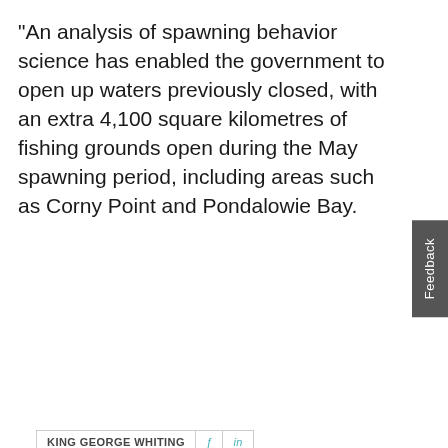“An analysis of spawning behavior science has enabled the government to open up waters previously closed, with an extra 4,100 square kilometres of fishing grounds open during the May spawning period, including areas such as Corny Point and Pondalowie Bay.
| KING GEORGE WHITING |  |  |
| --- | --- | --- |